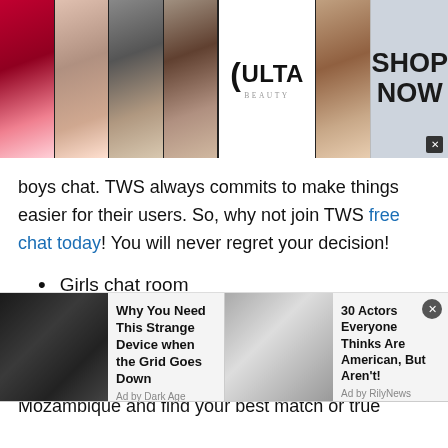[Figure (infographic): Ulta Beauty advertisement banner with makeup images on left and right, Ulta Beauty logo in center, and SHOP NOW button on far right]
boys chat. TWS always commits to make things easier for their users. So, why not join TWS free chat today! You will never regret your decision!
Girls chat room
Do you love talking to girls online? Or looking for a great companionship? If it's so then at the Talkwithstranger app you can talk to strangers in Mozambique and find your best match or true
[Figure (infographic): Bottom advertisement strip with two ads: 'Why You Need This Strange Device when the Grid Goes Down' by Dark Age Defense, and '30 Actors Everyone Thinks Are American, But Aren't!' by RilyNews]